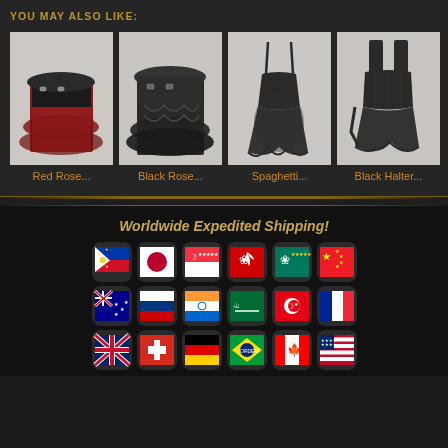YOU MAY ALSO LIKE:
[Figure (photo): Red Rose mini skirt with corset waistband, dark red brocade fabric]
Red Rose...
[Figure (photo): Black Rose mini skirt with corset waistband, black fabric]
Black Rose...
[Figure (photo): Spaghetti strap asymmetric black dress]
Spaghetti...
[Figure (photo): Black Halter asymmetric dress]
Black Halter...
Worldwide Expedited Shipping!
[Figure (infographic): Country flag icons in rounded square style: Philippines, Japan, Singapore, Hong Kong, Macau, China, Australia, Russia, India, Saudi Arabia, Tunisia, France, UK, Switzerland, Germany, Brazil, Canada, USA]